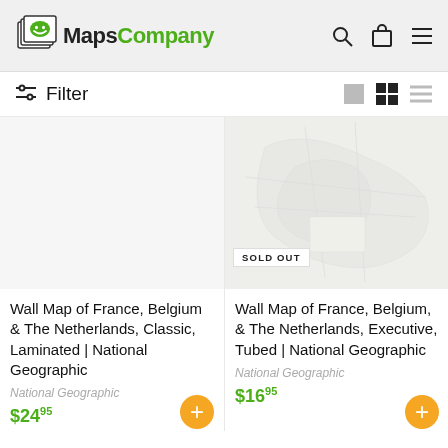MapsCompany
Filter
[Figure (screenshot): Product image for Wall Map of France, Belgium & The Netherlands, Classic, Laminated - blank/white image]
Wall Map of France, Belgium & The Netherlands, Classic, Laminated | National Geographic
National Geographic
$24.95
[Figure (map): Product image for Wall Map of France, Belgium & The Netherlands, Executive, Tubed - faint map background with SOLD OUT badge]
SOLD OUT
Wall Map of France, Belgium, & The Netherlands, Executive, Tubed | National Geographic
National Geographic
$16.95